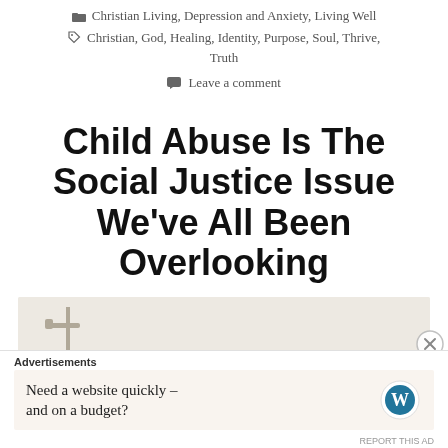Christian Living, Depression and Anxiety, Living Well
Christian, God, Healing, Identity, Purpose, Soul, Thrive, Truth
Leave a comment
Child Abuse Is The Social Justice Issue We've All Been Overlooking
[Figure (photo): Muted beige/off-white background photo with a silhouette of what appears to be a lamp post or street fixture on the left and a faint reddish/pink blurred shape in the center-right]
Advertisements
Need a website quickly – and on a budget?